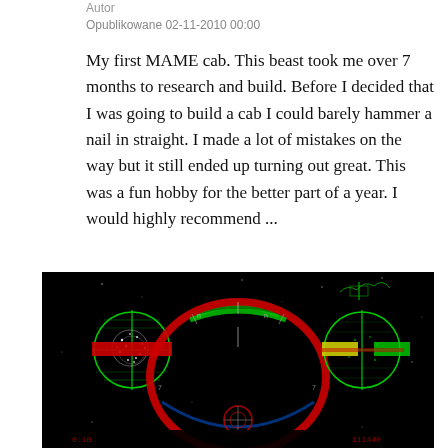Autor
Opublikowane 02-11-2010 00:00
My first MAME cab. This beast took me over 7 months to research and build. Before I decided that I was going to build a cab I could barely hammer a nail in straight. I made a lot of mistakes on the way but it still ended up turning out great. This was a fun hobby for the better part of a year. I would highly recommend ...
[Figure (screenshot): Screenshot of an arcade game displayed on a black background, showing a radar/HUD-style game interface with green circular crosshair graphics, red horizontal bars, a large red and green arc/ring in the center, and colorful game elements on a black background resembling a space or flight simulation game.]